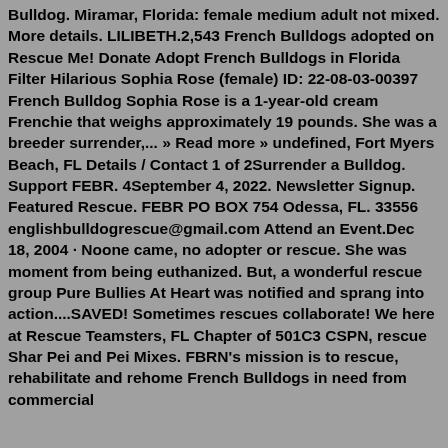Bulldog. Miramar, Florida: female medium adult not mixed. More details. LILIBETH.2,543 French Bulldogs adopted on Rescue Me! Donate Adopt French Bulldogs in Florida Filter Hilarious Sophia Rose (female) ID: 22-08-03-00397 French Bulldog Sophia Rose is a 1-year-old cream Frenchie that weighs approximately 19 pounds. She was a breeder surrender,... » Read more » undefined, Fort Myers Beach, FL Details / Contact 1 of 2Surrender a Bulldog. Support FEBR. 4September 4, 2022. Newsletter Signup. Featured Rescue. FEBR PO BOX 754 Odessa, FL. 33556 englishbulldogrescue@gmail.com Attend an Event.Dec 18, 2004 · Noone came, no adopter or rescue. She was moment from being euthanized. But, a wonderful rescue group Pure Bullies At Heart was notified and sprang into action....SAVED! Sometimes rescues collaborate! We here at Rescue Teamsters, FL Chapter of 501C3 CSPN, rescue Shar Pei and Pei Mixes. FBRN's mission is to rescue, rehabilitate and rehome French Bulldogs in need from commercial